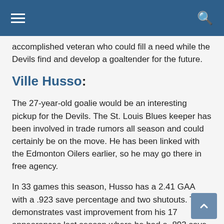Navigation header with hamburger menu and search icon
accomplished veteran who could fill a need while the Devils find and develop a goaltender for the future.
Ville Husso:
The 27-year-old goalie would be an interesting pickup for the Devils. The St. Louis Blues keeper has been involved in trade rumors all season and could certainly be on the move. He has been linked with the Edmonton Oilers earlier, so he may go there in free agency.
In 33 games this season, Husso has a 2.41 GAA with a .923 save percentage and two shutouts. This demonstrates vast improvement from his 17 appearances last season where he had a .893 save percentage and 3.31 GAA.
At 27, Husso could provide stability in net to the Devils for years to come. While there is no guarantee he will continue to be successful, he has shown great signs this season with the Blues. He is a great option due to his